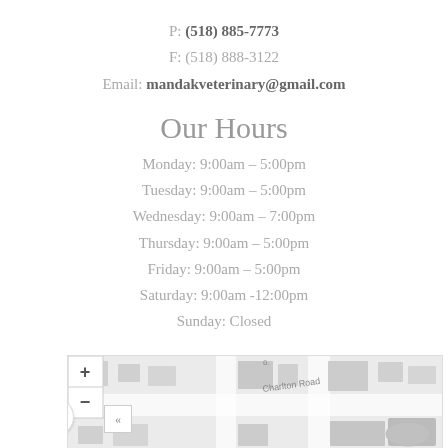P: (518) 885-7773
F: (518) 888-3122
Email: mandakveterinary@gmail.com
Our Hours
Monday: 9:00am – 5:00pm
Tuesday: 9:00am – 5:00pm
Wednesday: 9:00am – 7:00pm
Thursday: 9:00am – 5:00pm
Friday: 9:00am – 5:00pm
Saturday: 9:00am -12:00pm
Sunday: Closed
[Figure (map): Street map showing Charlton Road intersection with zoom controls and accessibility icon]